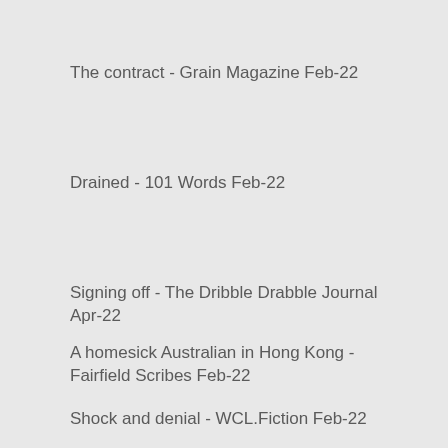The contract - Grain Magazine Feb-22
Drained - 101 Words Feb-22
Signing off - The Dribble Drabble Journal Apr-22
A homesick Australian in Hong Kong - Fairfield Scribes Feb-22
Shock and denial - WCL.Fiction Feb-22